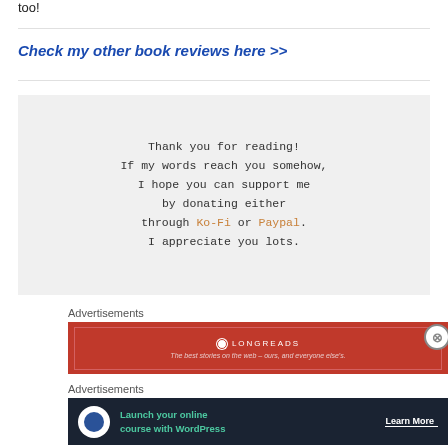too!
Check my other book reviews here >>
Thank you for reading!
If my words reach you somehow,
I hope you can support me
by donating either
through Ko-Fi or Paypal.
I appreciate you lots.
Advertisements
[Figure (infographic): Longreads advertisement banner in red: 'The best stories on the web - ours, and everyone else's.']
Advertisements
[Figure (infographic): Dark advertisement banner: 'Launch your online course with WordPress' with a Learn More button.]